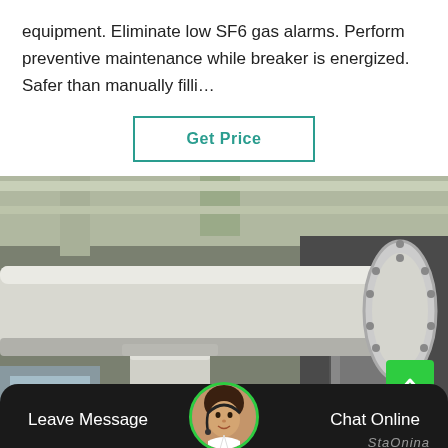equipment. Eliminate low SF6 gas alarms. Perform preventive maintenance while breaker is energized. Safer than manually filli…
Get Price
[Figure (photo): Industrial SF6 gas insulated electrical equipment – large white cylindrical pipe/busbar section with flanged joints mounted in an industrial substation building, supported by a grey pillar, with electrical cabinets visible in the background.]
Leave Message
Chat Online